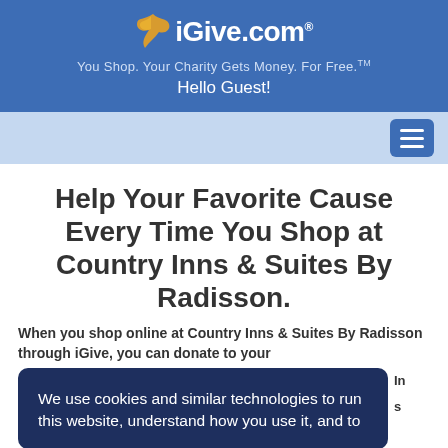iGive.com® — You Shop. Your Charity Gets Money. For Free.™ — Hello Guest!
Help Your Favorite Cause Every Time You Shop at Country Inns & Suites By Radisson.
When you shop online at Country Inns & Suites By Radisson through iGive, you can donate to your
We use cookies and similar technologies to run this website, understand how you use it, and to